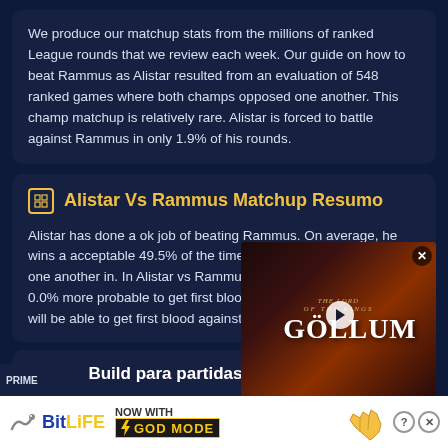We produce our matchup stats from the millions of ranked League rounds that we review each week. Our guide on how to beat Rammus as Alistar resulted from an evaluation of 548 ranked games where both champs opposed one another. This champ matchup is relatively rare. Alistar is forced to battle against Rammus in only 1.9% of his rounds.
Alistar Vs Rammus Matchup Resumo
Alistar has done a ok job of beating Rammus. On average, he wins a acceptable 49.5% of the time the champions face off with one another in. In Alistar vs Rammus rounds, Alistar's side is 0.0% more probable to get first blood, indicating that he probably will be able to get first blood against Rammus.
Melhor Build para partidas
tens
[Figure (screenshot): Lord of the Rings Gollum game advertisement video overlay]
[Figure (screenshot): BitLife game advertisement banner with GOD MODE promotion]